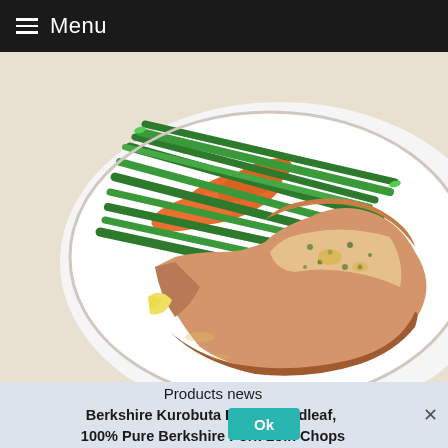Menu
[Figure (photo): A plated pork loin chop with green beans and carrot slices on a white plate, garnished with lemon, served on a restaurant-style white dish.]
Products news
Berkshire Kurobuta Pork, Broadleaf, 100% Pure Berkshire Pork Loin Chops